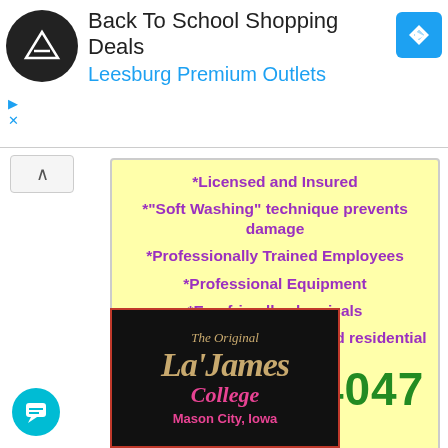[Figure (infographic): Ad banner for Back To School Shopping Deals at Leesburg Premium Outlets with circular black logo and blue navigation icon]
[Figure (infographic): Yellow promotional box listing service features: Licensed and Insured, Soft Washing technique prevents damage, Professionally Trained Employees, Professional Equipment, Eco-friendly chemicals, Service both commercial and residential. Phone number 641-512-4047 in large green text.]
[Figure (logo): La'James College Mason City Iowa logo on black background with red border]